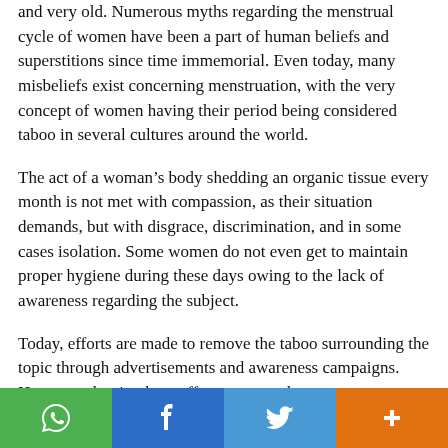and very old. Numerous myths regarding the menstrual cycle of women have been a part of human beliefs and superstitions since time immemorial. Even today, many misbeliefs exist concerning menstruation, with the very concept of women having their period being considered taboo in several cultures around the world.
The act of a woman's body shedding an organic tissue every month is not met with compassion, as their situation demands, but with disgrace, discrimination, and in some cases isolation. Some women do not even get to maintain proper hygiene during these days owing to the lack of awareness regarding the subject.
Today, efforts are made to remove the taboo surrounding the topic through advertisements and awareness campaigns. However, despite these efforts, we see that
[Figure (infographic): Social sharing bar with WhatsApp (green), Facebook (blue), Twitter (light blue), and plus/share (orange) buttons at the bottom of the page.]